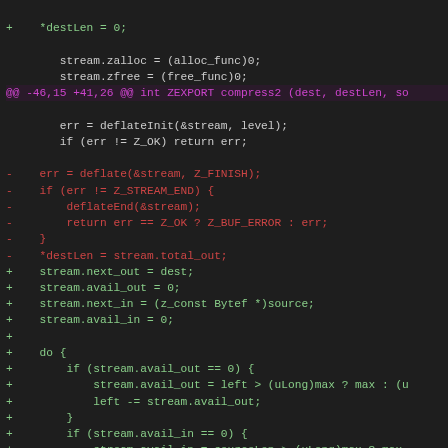[Figure (screenshot): A unified diff / code diff view showing changes to a C file, with green added lines (+), red removed lines (-), and a purple hunk header line, on a dark background.]